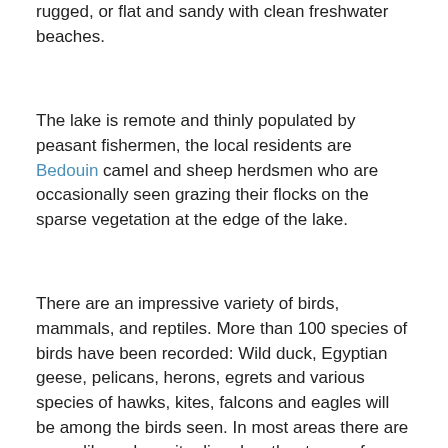rugged, or flat and sandy with clean freshwater beaches.
The lake is remote and thinly populated by peasant fishermen, the local residents are Bedouin camel and sheep herdsmen who are occasionally seen grazing their flocks on the sparse vegetation at the edge of the lake.
There are an impressive variety of birds, mammals, and reptiles. More than 100 species of birds have been recorded: Wild duck, Egyptian geese, pelicans, herons, egrets and various species of hawks, kites, falcons and eagles will be among the birds seen. In most areas there are crocodile and monitor lizards, other types of wildlife include Dorcas gazelle, jackals, desert fox, and various smaller desert mammals.
Lake Nasser is a place where a small group of anglers have literally hundreds of square miles to themselves.
Lake Nasser has arguably the best freshwater fishing in the